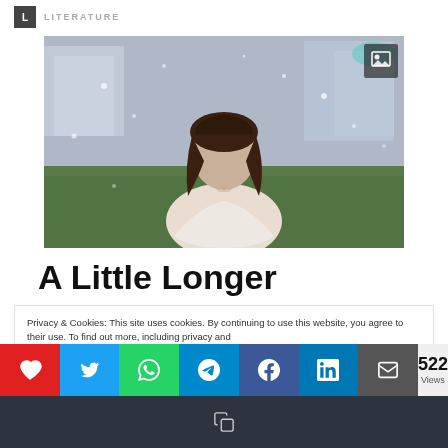LITERATURE
[Figure (photo): Woman with dark hair, eyes closed, wearing a white top, outdoors with blurred green background and bokeh light spots]
A Little Longer
Privacy & Cookies: This site uses cookies. By continuing to use this website, you agree to their use. To find out more, including privacy and
522 Views